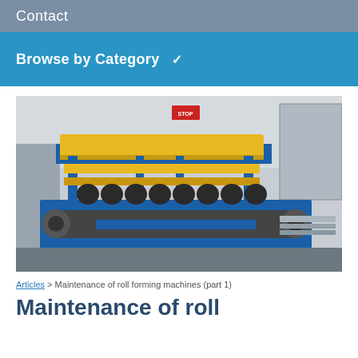Contact
Browse by Category ▾
[Figure (photo): Industrial roll forming machine in a factory setting. Machine is predominantly blue and yellow with large rollers and a flat bed. Factory equipment visible in the background.]
Articles > Maintenance of roll forming machines (part 1)
Maintenance of roll